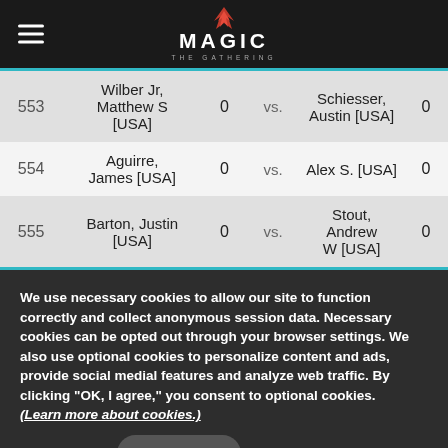MAGIC THE GATHERING
| # | Player 1 | Score | vs. | Player 2 | Score |
| --- | --- | --- | --- | --- | --- |
| 553 | Wilber Jr, Matthew S [USA] | 0 | vs. | Schiesser, Austin [USA] | 0 |
| 554 | Aguirre, James [USA] | 0 | vs. | Alex S. [USA] | 0 |
| 555 | Barton, Justin [USA] | 0 | vs. | Stout, Andrew W [USA] | 0 |
We use necessary cookies to allow our site to function correctly and collect anonymous session data. Necessary cookies can be opted out through your browser settings. We also use optional cookies to personalize content and ads, provide social medial features and analyze web traffic. By clicking “OK, I agree,” you consent to optional cookies. (Learn more about cookies.)
OK, I agree    No, thanks